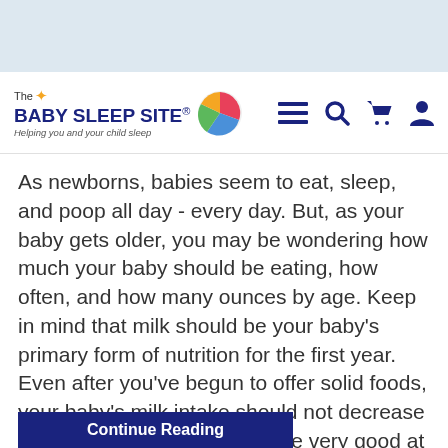[Figure (logo): The Baby Sleep Site logo with colorful circle and tagline 'Helping you and your child sleep']
As newborns, babies seem to eat, sleep, and poop all day - every day. But, as your baby gets older, you may be wondering how much your baby should be eating, how often, and how many ounces by age. Keep in mind that milk should be your baby's primary form of nutrition for the first year. Even after you've begun to offer solid foods, your baby's milk intake should not decrease much, if at all. Also, babies are very good at self-moderation, so it is usually unnecessary to limit your baby's milk